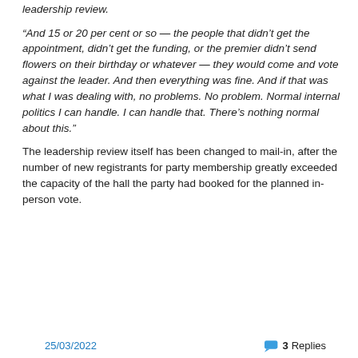leadership review.
“And 15 or 20 per cent or so — the people that didn’t get the appointment, didn’t get the funding, or the premier didn’t send flowers on their birthday or whatever — they would come and vote against the leader. And then everything was fine. And if that was what I was dealing with, no problems. No problem. Normal internal politics I can handle. I can handle that. There’s nothing normal about this.”
The leadership review itself has been changed to mail-in, after the number of new registrants for party membership greatly exceeded the capacity of the hall the party had booked for the planned in-person vote.
25/03/2022   3 Replies